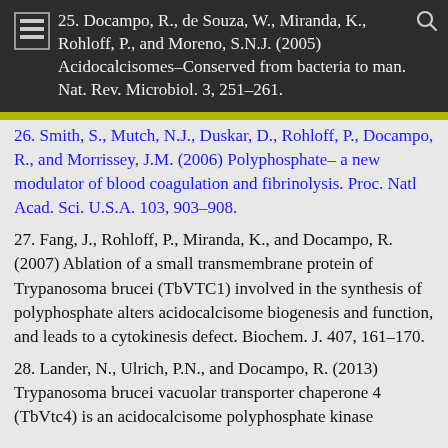25. Docampo, R., de Souza, W., Miranda, K., Rohloff, P., and Moreno, S.N.J. (2005) Acidocalcisomes–Conserved from bacteria to man. Nat. Rev. Microbiol. 3, 251–261.
26. Smith, S., Mutch, N.J., Duskar, D., Rohloff, P., Docampo, R., and Morrissey, J.M. (2006) Polyphosphate– a new modulator of blood coagulation and fibrinolysis. Proc. Natl Acad. Sci. U.S.A. 103, 903–908.
27. Fang, J., Rohloff, P., Miranda, K., and Docampo, R. (2007) Ablation of a small transmembrane protein of Trypanosoma brucei (TbVTC1) involved in the synthesis of polyphosphate alters acidocalcisome biogenesis and function, and leads to a cytokinesis defect. Biochem. J. 407, 161–170.
28. Lander, N., Ulrich, P.N., and Docampo, R. (2013) Trypanosoma brucei vacuolar transporter chaperone 4 (TbVtc4) is an acidocalcisome polyphosphate kinase